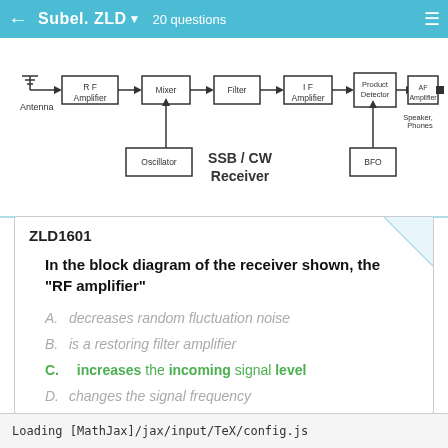Subel. ZLD  20 questions
[Figure (schematic): Block diagram of an SSB/CW Receiver showing: Antenna → RF Amplifier → Mixer → Filter → IF Amplifier → Product Detector → AF Amplifier → Speaker/Phones. Oscillator feeds into Mixer. BFO feeds into Product Detector. Label: SSB / CW Receiver.]
ZLD1601
In the block diagram of the receiver shown, the "RF amplifier"
A.  decreases random fluctuation noise
B.  is a restoring filter amplifier
C.  increases the incoming signal level
D.  changes the signal frequency
Loading [MathJax]/jax/input/TeX/config.js